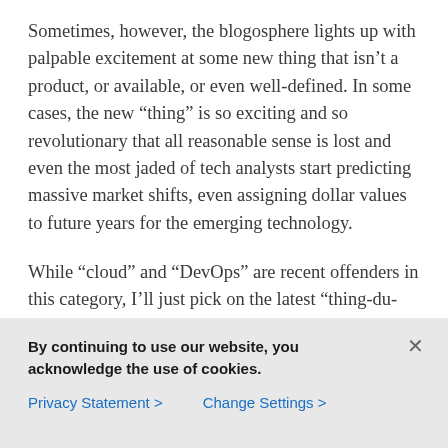Sometimes, however, the blogosphere lights up with palpable excitement at some new thing that isn't a product, or available, or even well-defined. In some cases, the new “thing” is so exciting and so revolutionary that all reasonable sense is lost and even the most jaded of tech analysts start predicting massive market shifts, even assigning dollar values to future years for the emerging technology.
While “cloud” and “DevOps” are recent offenders in this category, I’ll just pick on the latest “thing-du-jour” to come out of the ether: Software Defined Networking (SDN)
By continuing to use our website, you acknowledge the use of cookies.
Privacy Statement > Change Settings >